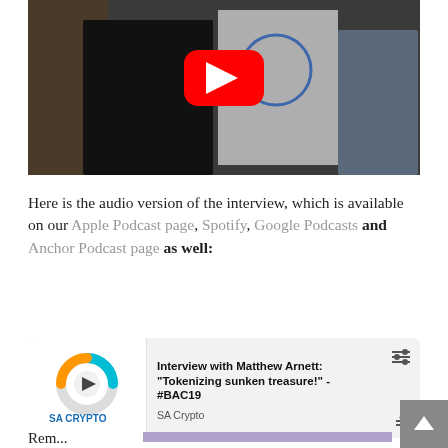[Figure (screenshot): YouTube video thumbnail showing two people at what appears to be a conference with a YouTube play button overlay]
Here is the audio version of the interview, which is available on our Apple Podcast page, Spotify, Google Podcasts and Anchor Podcast page as well:
[Figure (screenshot): SA Crypto podcast player card showing 'Interview with Matthew Arnett: Tokenizing sunken treasure! - #BAC19' by SA Crypto]